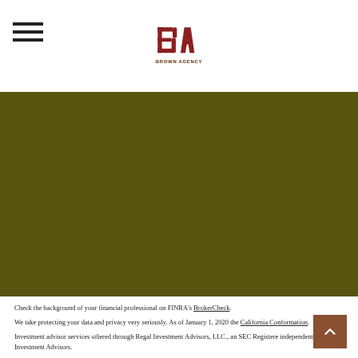[Figure (logo): Brown Agency logo with BA letters and brown text]
Insurance
Tax
Money
Lifestyle
All Articles
All Videos
All Calculators
All Presentations
Check the background of your financial professional on FINRA’s BrokerCheck.
We take protecting your data and privacy very seriously. As of January 1, 2020 the California Con… information.
Investment advisor services offered through Regal Investment Advisors, LLC., an SEC Registere… independent of Regal Investment Advisors.